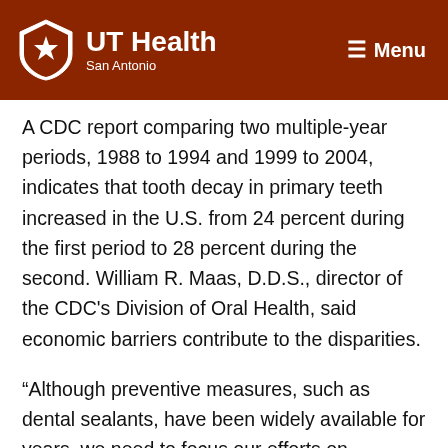UT Health San Antonio — Menu
A CDC report comparing two multiple-year periods, 1988 to 1994 and 1999 to 2004, indicates that tooth decay in primary teeth increased in the U.S. from 24 percent during the first period to 28 percent during the second. William R. Maas, D.D.S., director of the CDC's Division of Oral Health, said economic barriers contribute to the disparities.
“Although preventive measures, such as dental sealants, have been widely available for years, we need to focus our efforts on reaching children living in poverty who stand to benefit the most